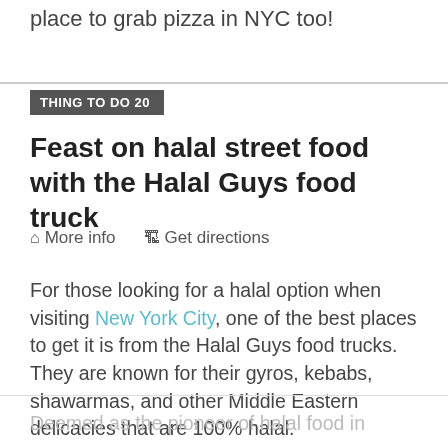place to grab pizza in NYC too!
THING TO DO 20
Feast on halal street food with the Halal Guys food truck
More info   Get directions
For those looking for a halal option when visiting New York City, one of the best places to get it is from the Halal Guys food trucks. They are known for their gyros, kebabs, shawarmas, and other Middle Eastern delicacies that are 100% halal.
Deemed as the pioneer of halal food in